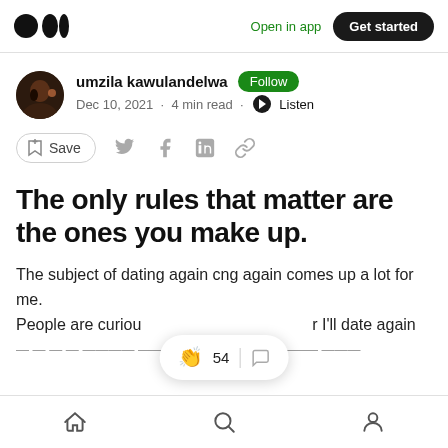Medium logo | Open in app | Get started
umzila kawulandelwa · Follow · Dec 10, 2021 · 4 min read · Listen
Save (social share icons)
The only rules that matter are the ones you make up.
The subject of dating again comes up a lot for me. People are curious about whether I'll date again
Home | Search | Profile (bottom nav)